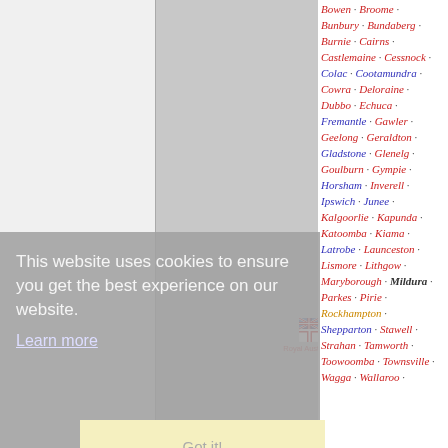[Figure (logo): Royal Australian Navy white ensign flag icon with label 'Royal Australian Navy']
Bowen · Broome ·
Bunbury · Bundaberg ·
Burnie · Cairns ·
Castlemaine · Cessnock ·
Colac · Cootamundra ·
Cowra · Deloraine ·
Dubbo · Echuca ·
Fremantle · Gawler ·
Geelong · Geraldton ·
Gladstone · Glenelg ·
Goulburn · Gympie ·
Horsham · Inverell ·
Ipswich · Junee ·
Kalgoorlie · Kapunda ·
Katoomba · Kiama ·
Latrobe · Launceston ·
Lismore · Lithgow ·
Maryborough · Mildura ·
Parkes · Pirie ·
Rockhampton ·
Shepparton · Stawell ·
Strahan · Tamworth ·
Toowoomba · Townsville ·
Wagga · Wallaroo ·
This website uses cookies to ensure you get the best experience on our website. Learn more
Got it!